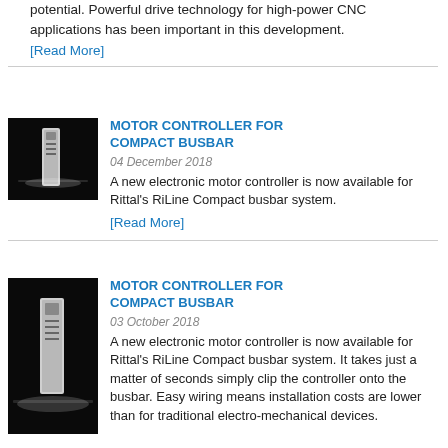potential. Powerful drive technology for high-power CNC applications has been important in this development.
[Read More]
MOTOR CONTROLLER FOR COMPACT BUSBAR
04 December 2018
A new electronic motor controller is now available for Rittal's RiLine Compact busbar system.
[Read More]
[Figure (photo): Electronic motor controller device on black background]
MOTOR CONTROLLER FOR COMPACT BUSBAR
03 October 2018
A new electronic motor controller is now available for Rittal's RiLine Compact busbar system. It takes just a matter of seconds simply clip the controller onto the busbar. Easy wiring means installation costs are lower than for traditional electro-mechanical devices.
[Figure (photo): Electronic motor controller device on black background]